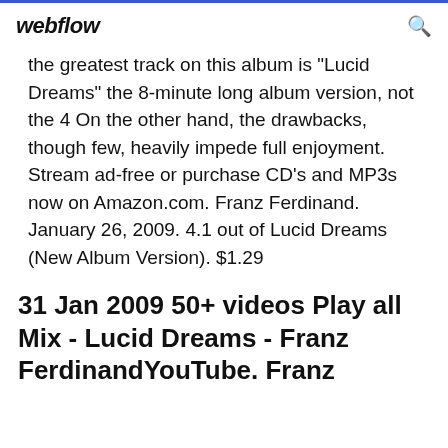webflow
the greatest track on this album is "Lucid Dreams" the 8-minute long album version, not the 4 On the other hand, the drawbacks, though few, heavily impede full enjoyment. Stream ad-free or purchase CD's and MP3s now on Amazon.com. Franz Ferdinand. January 26, 2009. 4.1 out of Lucid Dreams (New Album Version). $1.29
31 Jan 2009 50+ videos Play all Mix - Lucid Dreams - Franz FerdinandYouTube. Franz